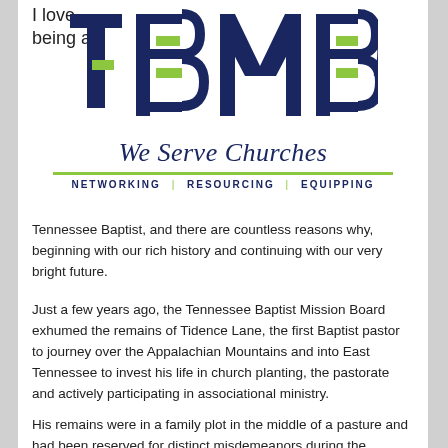I love being a
[Figure (logo): TBMB (Tennessee Baptist Mission Board) logo with large dark navy letters T B M B, green accent elements, tagline 'We Serve Churches' in italic serif, a green horizontal line, and text 'NETWORKING | RESOURCING | EQUIPPING']
Tennessee Baptist, and there are countless reasons why, beginning with our rich history and continuing with our very bright future.
Just a few years ago, the Tennessee Baptist Mission Board exhumed the remains of Tidence Lane, the first Baptist pastor to journey over the Appalachian Mountains and into East Tennessee to invest his life in church planting, the pastorate and actively participating in associational ministry.
His remains were in a family plot in the middle of a pasture and had been reserved for distinct misdemeanors during the